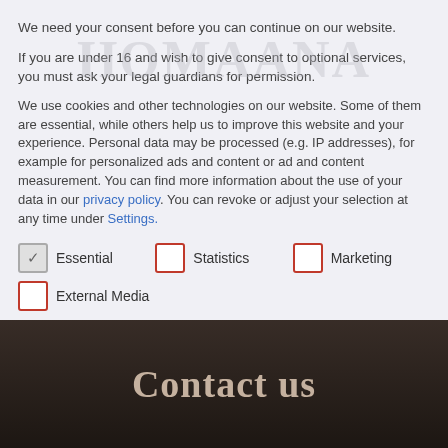We need your consent before you can continue on our website.
If you are under 16 and wish to give consent to optional services, you must ask your legal guardians for permission.
We use cookies and other technologies on our website. Some of them are essential, while others help us to improve this website and your experience. Personal data may be processed (e.g. IP addresses), for example for personalized ads and content or ad and content measurement. You can find more information about the use of your data in our privacy policy. You can revoke or adjust your selection at any time under Settings.
Essential
Statistics
Marketing
External Media
Contact us